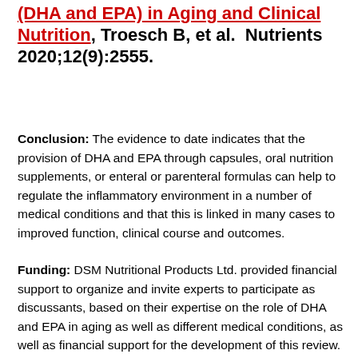(DHA and EPA) in Aging and Clinical Nutrition, Troesch B, et al.  Nutrients 2020;12(9):2555.
Conclusion: The evidence to date indicates that the provision of DHA and EPA through capsules, oral nutrition supplements, or enteral or parenteral formulas can help to regulate the inflammatory environment in a number of medical conditions and that this is linked in many cases to improved function, clinical course and outcomes.
Funding: DSM Nutritional Products Ltd. provided financial support to organize and invite experts to participate as discussants, based on their expertise on the role of DHA and EPA in aging as well as different medical conditions, as well as financial support for the development of this review.